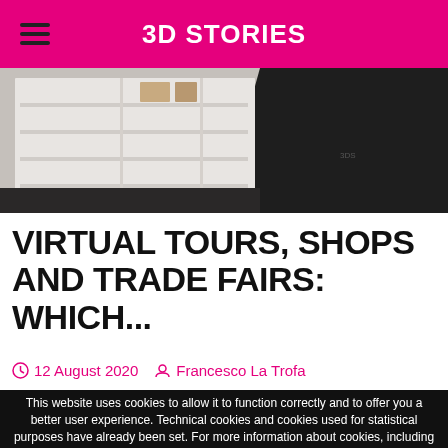3D STORIES
[Figure (photo): Interior architectural render showing white shelving units and dark flooring]
VIRTUAL TOURS, SHOPS AND TRADE FAIRS: WHICH...
12 August 2020   Francesco La Trofa
This website uses cookies to allow it to function correctly and to offer you a better user experience. Technical cookies and cookies used for statistical purposes have already been set. For more information about cookies, including third-party cookies, and how to manage settings please consult the Cookie Policy. By clicking OK you are giving consent to cookies being used.  OK